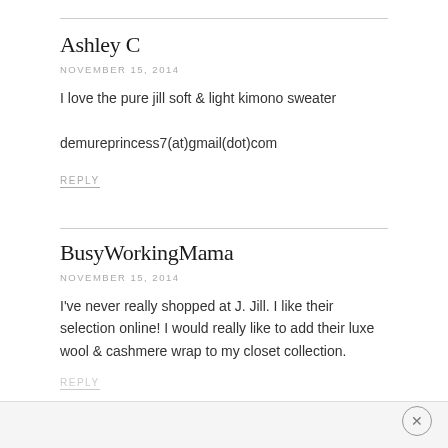Ashley C
NOVEMBER 15, 2014
I love the pure jill soft & light kimono sweater

demureprincess7(at)gmail(dot)com
REPLY
BusyWorkingMama
NOVEMBER 15, 2014
I've never really shopped at J. Jill. I like their selection online! I would really like to add their luxe wool & cashmere wrap to my closet collection.
REPLY